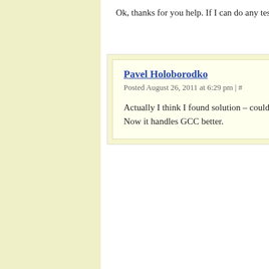Ok, thanks for you help. If I can do any tests or something just le...
Pavel Holoborodko
Posted August 26, 2011 at 6:29 pm | #
Actually I think I found solution – could you try latest version fr... Now it handles GCC better.
Javier Daza
Posted September 9, 2011 at 2:30 am | #
Hi Pavel,
I am trying to use your code but the compiler is unable to indentify 'intmax_t' a...
main.cpp
C:\MPFRC++\mpir_mpfr\mpfr\Win32\Debug\mpfr.h(354) : error C2061: syntax...
C:\MPFRC++\mpir_mpfr\mpfr\Win32\Debug\mpfr.h(356) : error C2061: syntax...